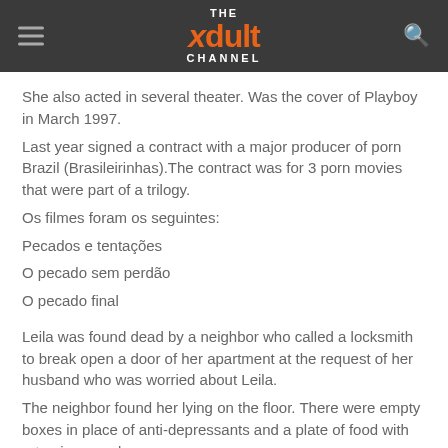THE xdult CHANNEL
She also acted in several theater. Was the cover of Playboy in March 1997.
Last year signed a contract with a major producer of porn Brazil (Brasileirinhas).The contract was for 3 porn movies that were part of a trilogy.
Os filmes foram os seguintes:
Pecados e tentações
O pecado sem perdão
O pecado final
Leila was found dead by a neighbor who called a locksmith to break open a door of her apartment at the request of her husband who was worried about Leila.
The neighbor found her lying on the floor. There were empty boxes in place of anti-depressants and a plate of food with rat poison, and